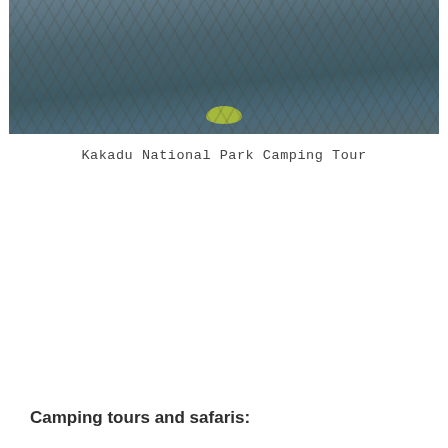[Figure (photo): Aerial or close-up photograph of a wetland or water surface with aquatic vegetation and a yellow-green leaf, taken at Kakadu National Park]
Kakadu National Park Camping Tour
Camping tours and safaris: